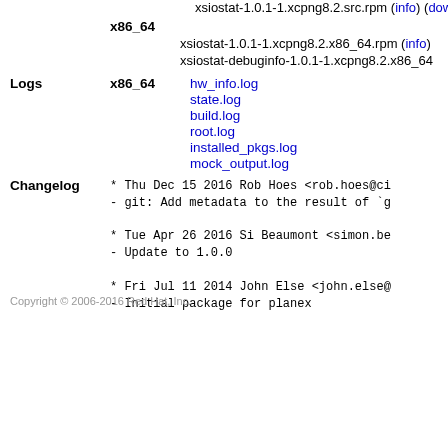xsiostat-1.0.1-1.xcpng8.2.src.rpm (info) (dow
x86_64
xsiostat-1.0.1-1.xcpng8.2.x86_64.rpm (info)
xsiostat-debuginfo-1.0.1-1.xcpng8.2.x86_64
Logs  x86_64
hw_info.log
state.log
build.log
root.log
installed_pkgs.log
mock_output.log
Changelog
* Thu Dec 15 2016 Rob Hoes <rob.hoes@ci
- git: Add metadata to the result of `g

* Tue Apr 26 2016 Si Beaumont <simon.be
- Update to 1.0.0

* Fri Jul 11 2014 John Else <john.else@
- Initial package for planex
Copyright © 2006-2016 Red Hat, Inc.